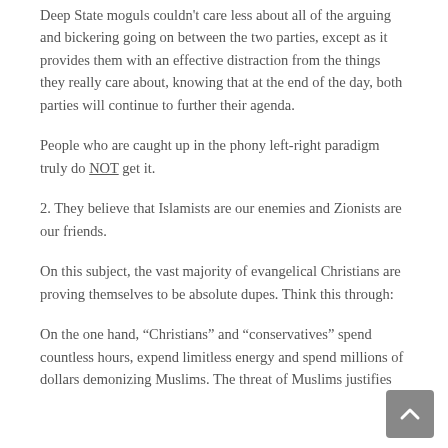Deep State moguls couldn't care less about all of the arguing and bickering going on between the two parties, except as it provides them with an effective distraction from the things they really care about, knowing that at the end of the day, both parties will continue to further their agenda.
People who are caught up in the phony left-right paradigm truly do NOT get it.
2. They believe that Islamists are our enemies and Zionists are our friends.
On this subject, the vast majority of evangelical Christians are proving themselves to be absolute dupes. Think this through:
On the one hand, “Christians” and “conservatives” spend countless hours, expend limitless energy and spend millions of dollars demonizing Muslims. The threat of Muslims justifies